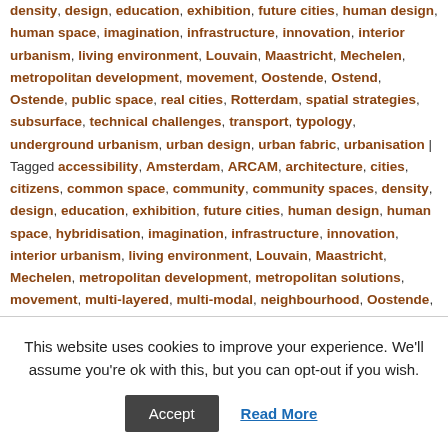density, design, education, exhibition, future cities, human design, human space, imagination, infrastructure, innovation, interior urbanism, living environment, Louvain, Maastricht, Mechelen, metropolitan development, movement, Oostende, Ostend, Ostende, public space, real cities, Rotterdam, spatial strategies, subsurface, technical challenges, transport, typology, underground urbanism, urban design, urban fabric, urbanisation | Tagged accessibility, Amsterdam, ARCAM, architecture, cities, citizens, common space, community, community spaces, density, design, education, exhibition, future cities, human design, human space, hybridisation, imagination, infrastructure, innovation, interior urbanism, living environment, Louvain, Maastricht, Mechelen, metropolitan development, metropolitan solutions, movement, multi-layered, multi-modal, neighbourhood, Oostende, Ostend, Ostende, public space, real cities, Rotterdam, shared space, socio-spatial transformation, spatial strategies, station platforms, stations, subsurface, technical challenges...
This website uses cookies to improve your experience. We'll assume you're ok with this, but you can opt-out if you wish.